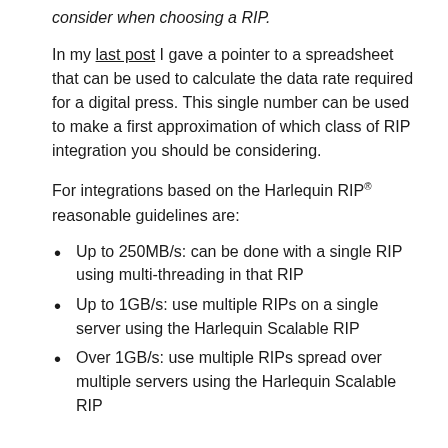consider when choosing a RIP.
In my last post I gave a pointer to a spreadsheet that can be used to calculate the data rate required for a digital press. This single number can be used to make a first approximation of which class of RIP integration you should be considering.
For integrations based on the Harlequin RIP® reasonable guidelines are:
Up to 250MB/s: can be done with a single RIP using multi-threading in that RIP
Up to 1GB/s: use multiple RIPs on a single server using the Harlequin Scalable RIP
Over 1GB/s: use multiple RIPs spread over multiple servers using the Harlequin Scalable RIP